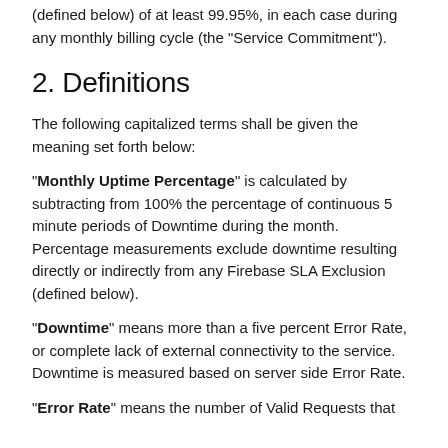(defined below) of at least 99.95%, in each case during any monthly billing cycle (the "Service Commitment").
2. Definitions
The following capitalized terms shall be given the meaning set forth below:
"Monthly Uptime Percentage" is calculated by subtracting from 100% the percentage of continuous 5 minute periods of Downtime during the month. Percentage measurements exclude downtime resulting directly or indirectly from any Firebase SLA Exclusion (defined below).
"Downtime" means more than a five percent Error Rate, or complete lack of external connectivity to the service. Downtime is measured based on server side Error Rate.
"Error Rate" means the number of Valid Requests that